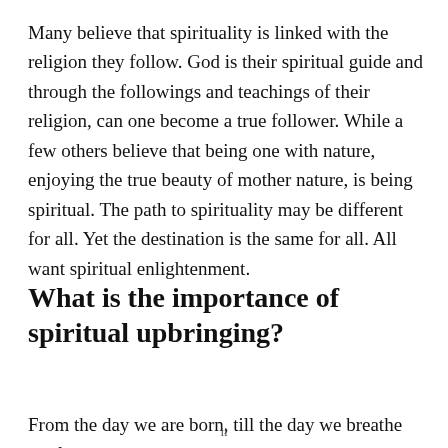Many believe that spirituality is linked with the religion they follow. God is their spiritual guide and through the followings and teachings of their religion, can one become a true follower. While a few others believe that being one with nature, enjoying the true beauty of mother nature, is being spiritual. The path to spirituality may be different for all. Yet the destination is the same for all. All want spiritual enlightenment.
What is the importance of spiritual upbringing?
From the day we are born, till the day we breathe our last